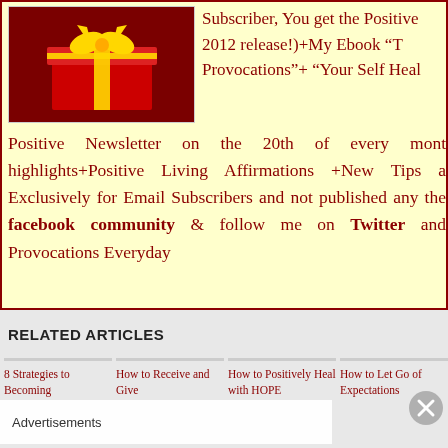[Figure (photo): Gift box with red ribbon and bow on dark red background]
Subscriber, You get the Positive 2012 release!)+My Ebook "T Provocations"+ "Your Self Heal Positive Newsletter on the 20th of every mont highlights+Positive Living Affirmations +New Tips a Exclusively for Email Subscribers and not published any the facebook community & follow me on Twitter and Provocations Everyday
RELATED ARTICLES
8 Strategies to Becoming
How to Receive and Give
How to Positively Heal with HOPE
How to Let Go of Expectations
Advertisements